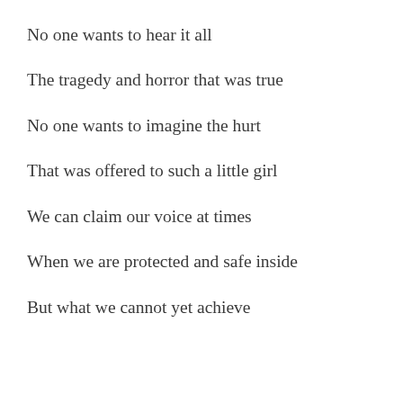No one wants to hear it all
The tragedy and horror that was true
No one wants to imagine the hurt
That was offered to such a little girl
We can claim our voice at times
When we are protected and safe inside
But what we cannot yet achieve